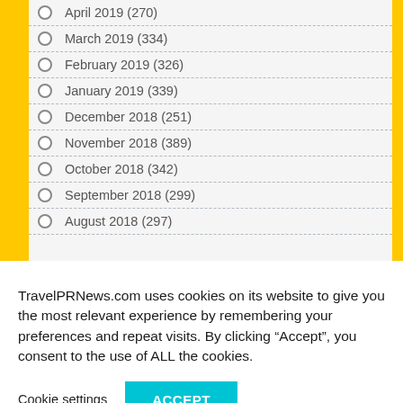April 2019 (270)
March 2019 (334)
February 2019 (326)
January 2019 (339)
December 2018 (251)
November 2018 (389)
October 2018 (342)
September 2018 (299)
August 2018 (297)
TravelPRNews.com uses cookies on its website to give you the most relevant experience by remembering your preferences and repeat visits. By clicking “Accept”, you consent to the use of ALL the cookies.
Cookie settings   ACCEPT